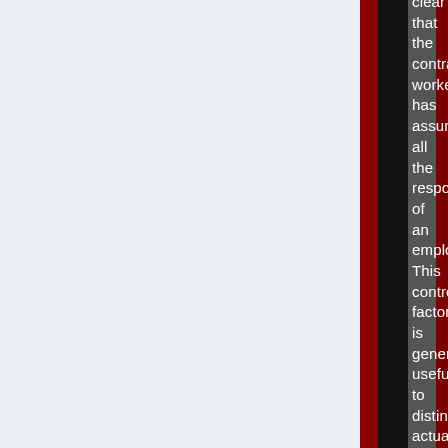clear that the contract worker has assumed all the responsibilities of an employer. This control factor is generally useful to distinguish actually free independent